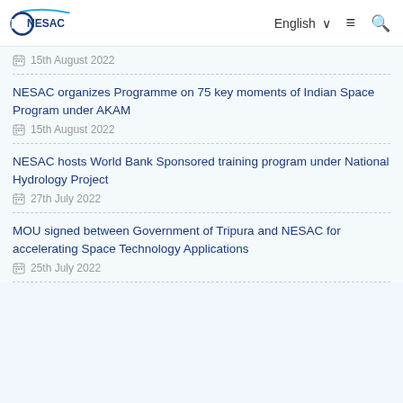NESAC | English | Menu | Search
15th August 2022
NESAC organizes Programme on 75 key moments of Indian Space Program under AKAM
15th August 2022
NESAC hosts World Bank Sponsored training program under National Hydrology Project
27th July 2022
MOU signed between Government of Tripura and NESAC for accelerating Space Technology Applications
25th July 2022